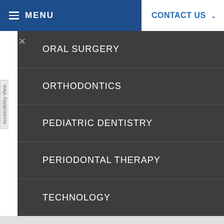MENU    CONTACT US
ORAL SURGERY
ORTHODONTICS
PEDIATRIC DENTISTRY
PERIODONTAL THERAPY
TECHNOLOGY
OUR LOCATION
Find us on the map
[Figure (map): Google Maps view showing Cliff Andrews Park, Covenant HealthPlus, and surrounding streets including Memorial Drive. Map includes zoom in/out controls (+/-).]